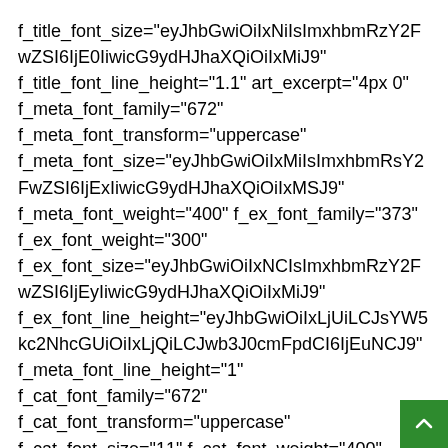f_title_font_size="eyJhbGwiOiIxNiIsImxhbmRzY2FwZSI6IjE0IiwicG9ydHJhaXQiOiIxMiJ9" f_title_font_line_height="1.1" art_excerpt="4px 0" f_meta_font_family="672" f_meta_font_transform="uppercase" f_meta_font_size="eyJhbGwiOiIxMiIsImxhbmRsY2FwZSI6IjExIiwicG9ydHJhaXQiOiIxMSJ9" f_meta_font_weight="400" f_ex_font_family="373" f_ex_font_weight="300" f_ex_font_size="eyJhbGwiOiIxNCIsImxhbmRzY2FwZSI6IjEyIiwicG9ydHJhaXQiOiIxMiJ9" f_ex_font_line_height="eyJhbGwiOiIxLjUiLCJsYW5kc2NhcGUiOiIxLjQiLCJwb3J0cmFpdCI6IjEuNCJ9" f_meta_font_line_height="1" f_cat_font_family="672" f_cat_font_transform="uppercase" f_cat_font_size="11" f_cat_font_weight="400" f_cat_font_spacing="1" f_cat_font_line_height="1" modules_category_padding="5px 6px 3px" modules_cat_border="1" cat_bg="#ffffff" cat_bg_hover="#ffffff" cat_txt="#000000"